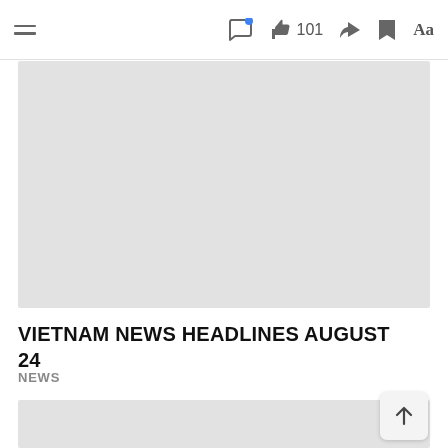VIETNAM NEWS HEADLINES AUGUST 24 — App toolbar with hamburger menu, comment, like (101), share, bookmark, font icons
[Figure (photo): Large gray image placeholder (top article image, content not visible)]
VIETNAM NEWS HEADLINES AUGUST 24
NEWS
[Figure (photo): Second gray image placeholder (partially visible at bottom)]